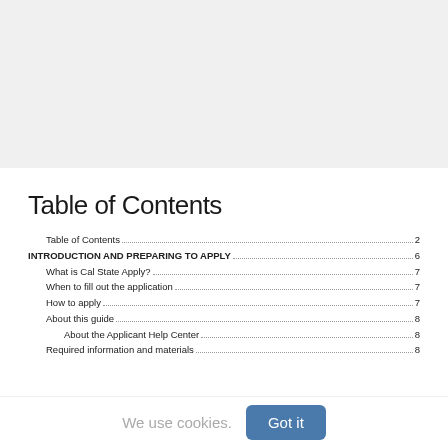[Figure (other): Gray background banner image area at top of page]
Table of Contents
Table of Contents ..... 2
INTRODUCTION AND PREPARING TO APPLY ..... 6
What is Cal State Apply? ..... 7
When to fill out the application ..... 7
How to apply ..... 7
About this guide ..... 8
About the Applicant Help Center ..... 8
Required information and materials ..... 8
We use cookies.
Got it